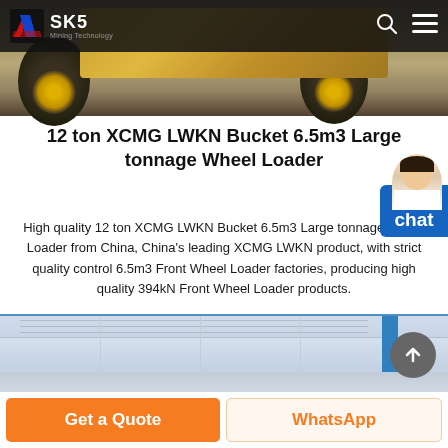[Figure (photo): Hero image showing front view of a large yellow wheel loader / construction machinery on sandy ground, with dark navigation bar overlay at top containing SKS Mining Technology logo, search icon, and menu icon]
12 ton XCMG LWKN Bucket 6.5m3 Large tonnage Wheel Loader
High quality 12 ton XCMG LWKN Bucket 6.5m3 Large tonnage Wheel Loader from China, China's leading XCMG LWKN product, with strict quality control 6.5m3 Front Wheel Loader factories, producing high quality 394kN Front Wheel Loader products.
[Figure (photo): Partial view of the wheel loader product in a warehouse/factory setting, showing the side of the machine with a blue vertical element visible on the right side]
Get a Quote
WhatsApp